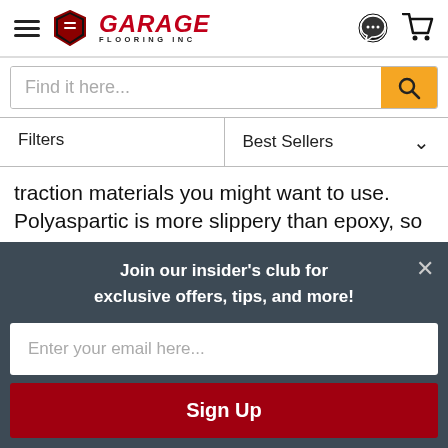Garage Flooring Inc — navigation header with hamburger menu, logo, search icon, and cart icon
Find it here...
Filters | Best Sellers
traction materials you might want to use. Polyaspartic is more slippery than epoxy, so this is always a good idea.
Polyaspartic dries really, really fast. There's a
Join our insider's club for exclusive offers, tips, and more!
Enter your email here...
Sign Up